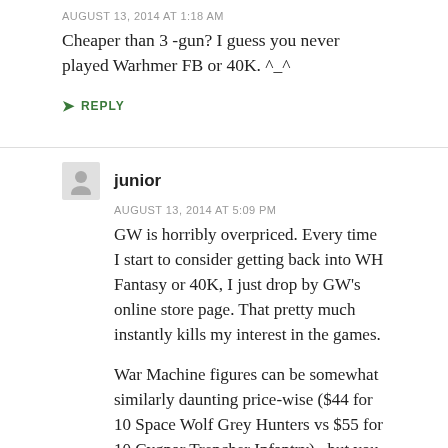AUGUST 13, 2014 AT 1:18 AM
Cheaper than 3 -gun? I guess you never played Warhmer FB or 40K. ^_^
↳ REPLY
junior
AUGUST 13, 2014 AT 5:09 PM
GW is horribly overpriced. Every time I start to consider getting back into WH Fantasy or 40K, I just drop by GW's online store page. That pretty much instantly kills my interest in the games.
War Machine figures can be somewhat similarly daunting price-wise ($44 for 10 Space Wolf Grey Hunters vs $55 for 10 Cygnar Trencher Infantry) , but you don't need anywhere near as many figures to build an army with. Also, iirc Warmachine's Warjacks tend to